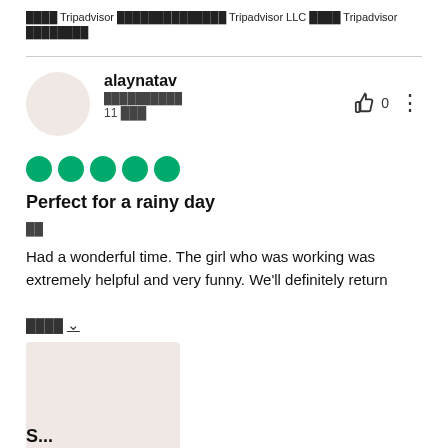████ Tripadvisor ██████████████ Tripadvisor LLC ████ Tripadvisor ████████
[Figure (photo): User avatar placeholder circle in light pinkish-beige color]
alaynatav
██████████
11 ███
[Figure (other): Five green filled circles representing a 5-star rating]
Perfect for a rainy day
██
Had a wonderful time. The girl who was working was extremely helpful and very funny. We'll definitely return
████ ∨
[Figure (photo): Light pinkish-beige photo thumbnail placeholder]
S...